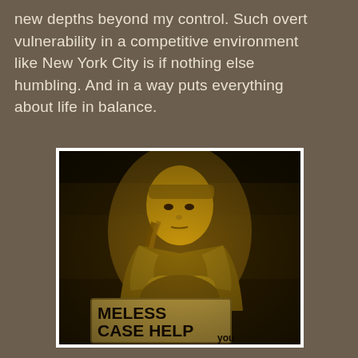new depths beyond my control. Such overt vulnerability in a competitive environment like New York City is if nothing else humbling. And in a way puts everything about life in balance.
[Figure (photo): A sepia/yellow-toned photograph of a young woman sitting on the ground with a braided ponytail and headband, leaning forward with arms resting on her knees. At the bottom of the image is a cardboard sign partially reading 'MELESS CASE HELP you', implying the word 'HOMELESS PLEASE HELP you'.]